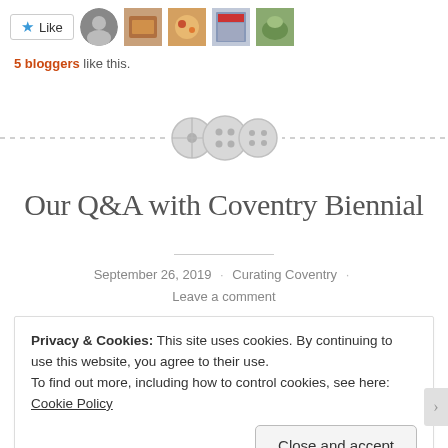[Figure (screenshot): Like button with star icon and 5 blogger avatar thumbnails]
5 bloggers like this.
[Figure (illustration): Decorative divider with three button/sewing button icons on a dashed horizontal line]
Our Q&A with Coventry Biennial
September 26, 2019 · Curating Coventry · Leave a comment
Privacy & Cookies: This site uses cookies. By continuing to use this website, you agree to their use.
To find out more, including how to control cookies, see here: Cookie Policy